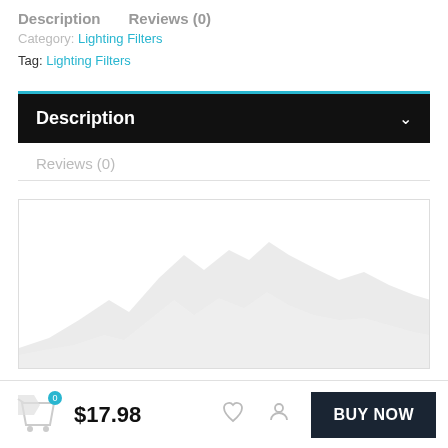Description   Reviews (0)
Category: Lighting Filters
Tag: Lighting Filters
Description
Reviews (0)
[Figure (continuous-plot): A light grey mountain/wave silhouette chart placeholder with no labeled data, shown inside a bordered box. The shape rises from bottom left to multiple peaks and descends, suggesting a product or analytics chart background graphic.]
$17.98   BUY NOW